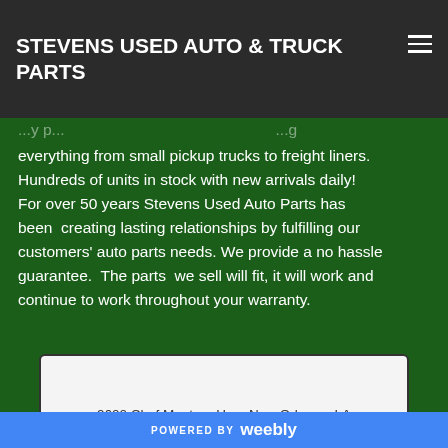STEVENS USED AUTO & TRUCK PARTS
everything from small pickup trucks to freight liners. Hundreds of units in stock with new arrivals daily! For over 50 years Stevens Used Auto Parts has been creating lasting relationships by fulfilling our customers' auto parts needs. We provide a no hassle guarantee. The parts we sell will fit, it will work and continue to work throughout your warranty.
9600 Chef Menteur Hwy, New Orleans, LA
POWERED BY weebly